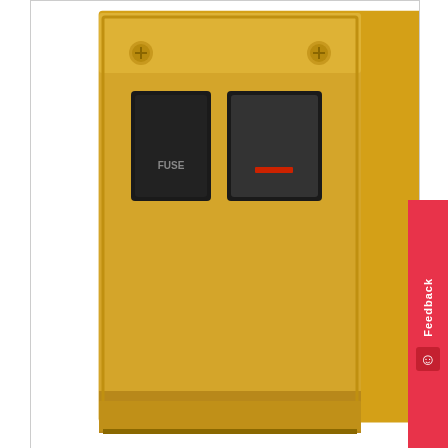[Figure (photo): Main product image showing a 13A fused switched spur with neon indicator, polished brass raised plate with black trim, mounted on white background. Shows fuse access cover on left and rocker switch with neon indicator on right.]
[Figure (photo): Small thumbnail image of the same polished brass fused switched spur unit viewed from front.]
[Figure (schematic): Thumbnail of a technical datasheet or instruction sheet for the electrical fitting, showing a wiring diagram and text specifications.]
13A Fused Switched Spur with Neon in Polished Brass Raised Plate with Black Trim Mast...